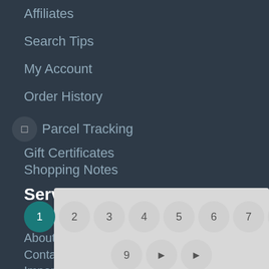Affiliates
Search Tips
My Account
Order History
☐ Parcel Tracking
Gift Certificates
Shopping Notes
Service
Site Map
About us
Contact us
Import Taxes
[Figure (other): Pagination control overlay showing page numbers 1 through 9 plus navigation arrows. Page 1 is highlighted in teal/dark green circle.]